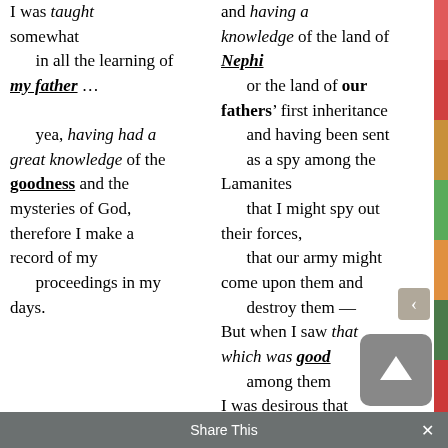I was taught somewhat in all the learning of my father … yea, having had a great knowledge of the goodness and the mysteries of God, therefore I make a record of my proceedings in my days.
and having a knowledge of the land of Nephi or the land of our fathers' first inheritance and having been sent as a spy among the Lamanites that I might spy out their forces, that our army might come upon them and destroy them — But when I saw that which was good among them I was desirous that
Share This